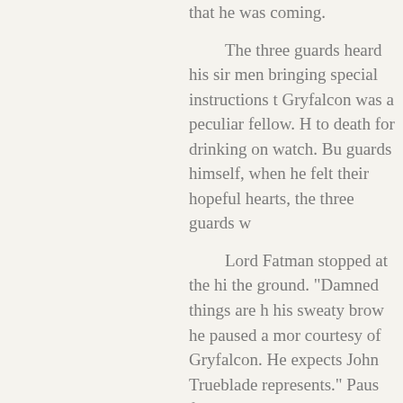that he was coming.

The three guards heard his sir men bringing special instructions t Gryfalcon was a peculiar fellow. H to death for drinking on watch. Bu guards himself, when he felt their hopeful hearts, the three guards w

Lord Fatman stopped at the hi the ground. "Damned things are h his sweaty brow he paused a mor courtesy of Gryfalcon. He expects John Trueblade represents." Paus fellows wouldn't mind sharing a dr

"Get you back to the reckoning can have wine aplenty, but for us, that not enough for a grown man.

Grinning Lord Fatman said, "W

The three guards each grabbe drank deeply of the wine. By the t induced sleep. The grinning Lord he had acquired on the beach tha Taking the rope, he tied the guard